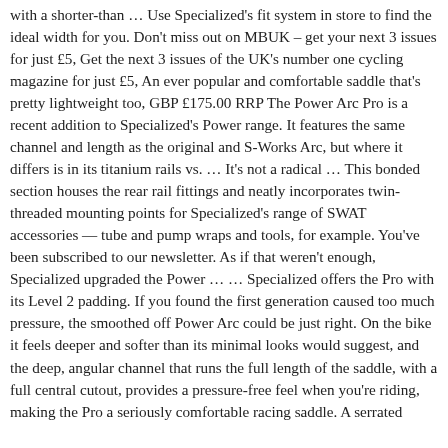with a shorter-than … Use Specialized's fit system in store to find the ideal width for you. Don't miss out on MBUK – get your next 3 issues for just £5, Get the next 3 issues of the UK's number one cycling magazine for just £5, An ever popular and comfortable saddle that's pretty lightweight too, GBP £175.00 RRP The Power Arc Pro is a recent addition to Specialized's Power range. It features the same channel and length as the original and S-Works Arc, but where it differs is in its titanium rails vs. … It's not a radical … This bonded section houses the rear rail fittings and neatly incorporates twin-threaded mounting points for Specialized's range of SWAT accessories — tube and pump wraps and tools, for example. You've been subscribed to our newsletter. As if that weren't enough, Specialized upgraded the Power … … Specialized offers the Pro with its Level 2 padding. If you found the first generation caused too much pressure, the smoothed off Power Arc could be just right. On the bike it feels deeper and softer than its minimal looks would suggest, and the deep, angular channel that runs the full length of the saddle, with a full central cutout, provides a pressure-free feel when you're riding, making the Pro a seriously comfortable racing saddle. A serrated